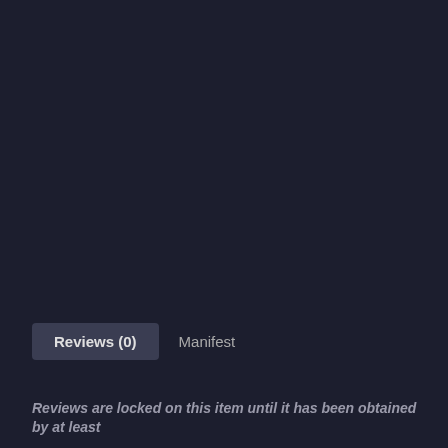Reviews (0)
Manifest
Reviews are locked on this item until it has been obtained by at least